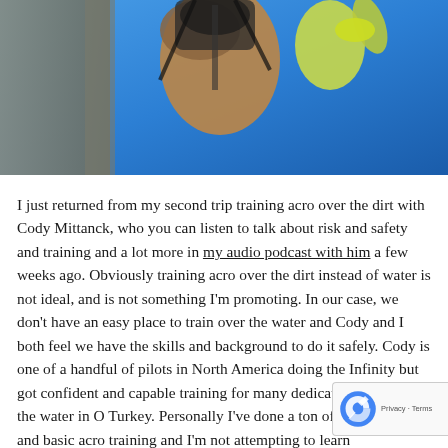[Figure (photo): Two paragliders photographed from below against a bright blue sky. One person is wearing a yellow/lime green jacket with arms raised, the other in brown/tan clothing with a harness and equipment visible overhead.]
I just returned from my second trip training acro over the dirt with Cody Mittanck, who you can listen to talk about risk and safety and training and a lot more in my audio podcast with him a few weeks ago. Obviously training acro over the dirt instead of water is not ideal, and is not something I'm promoting. In our case, we don't have an easy place to train over the water and Cody and I both feel we have the skills and background to do it safely. Cody is one of a handful of pilots in North America doing the Infinity but got confident and capable training for many dedicated weeks over the water in O Turkey. Personally I've done a ton of SIV training and basic acro training and I'm not attempting to learn